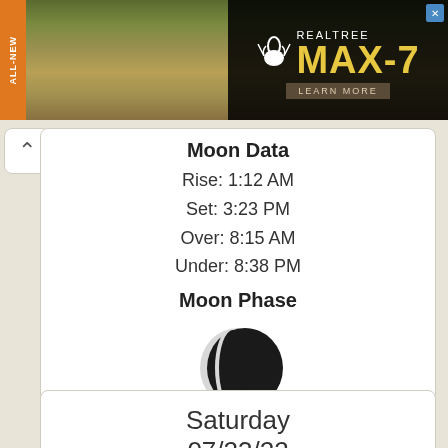[Figure (photo): Realtree MAX-7 advertisement banner with camouflage grass background, orange ALL-NEW vertical label on left, and Realtree MAX-7 logo with deer antler icon on dark right panel with LEARN MORE button]
Moon Data
Rise: 1:12 AM
Set: 3:23 PM
Over: 8:15 AM
Under: 8:38 PM
Moon Phase
[Figure (illustration): Waning crescent moon illustration showing mostly dark moon with small illuminated sliver on left side]
29%
waning
crescent
Explanation
Saturday
07/23/22